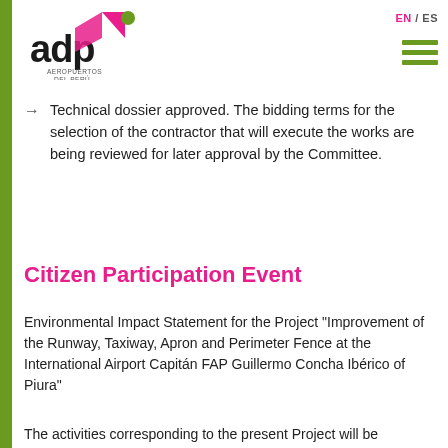[Figure (logo): ADP Aeropuertos del Perú logo — stylized 'adp' text in dark gray/black with pink and green geometric shapes forming a stylized bird or arrow above, and 'AEROPUERTOS DEL PERÚ' text below]
EN / ES
Technical dossier approved. The bidding terms for the selection of the contractor that will execute the works are being reviewed for later approval by the Committee.
Citizen Participation Event
Environmental Impact Statement for the Project "Improvement of the Runway, Taxiway, Apron and Perimeter Fence at the International Airport Capitán FAP Guillermo Concha Ibérico of Piura"
The activities corresponding to the present Project will be executed